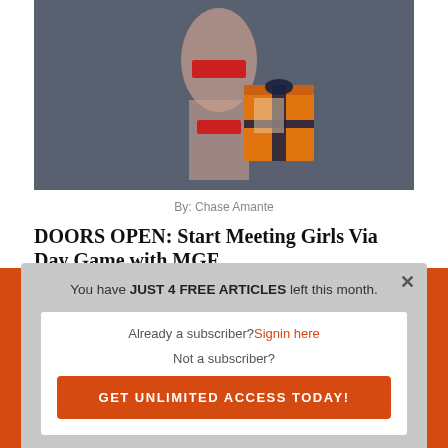[Figure (photo): A woman in red clothing holding an orange gift box with a dark bow, posed against a dark grey background.]
By: Chase Amante
DOORS OPEN: Start Meeting Girls Via Day Game with MGF
You have JUST 4 FREE ARTICLES left this month.
Already a subscriber? Signin here
Not a subscriber?
GET UNLIMITED ACCESS TODAY!